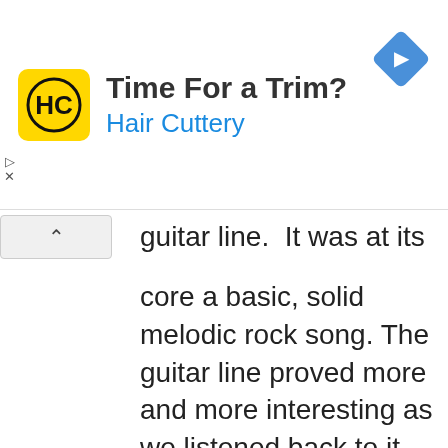[Figure (screenshot): Hair Cuttery advertisement banner with yellow logo, text 'Time For a Trim?' and 'Hair Cuttery' in blue, and a blue diamond navigation icon on the right]
guitar line.  It was at its core a basic, solid melodic rock song. The guitar line proved more and more interesting as we listened back to it and the tracks started exhibiting depth and intent all on their own. The original version of the song was roughly constructed about 4 years ago. Far enough in the past that the song, while interesting in its original form,